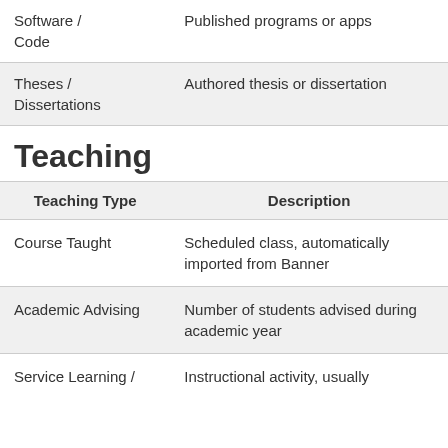|  |  |
| --- | --- |
| Software / Code | Published programs or apps |
| Theses / Dissertations | Authored thesis or dissertation |
Teaching
| Teaching Type | Description |
| --- | --- |
| Course Taught | Scheduled class, automatically imported from Banner |
| Academic Advising | Number of students advised during academic year |
| Service Learning / | Instructional activity, usually |